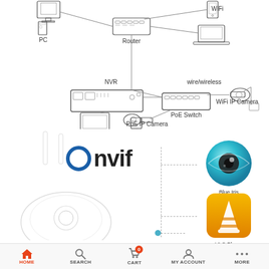[Figure (network-graph): Network diagram showing NVR, PC, Router, WiFi, PoE Switch, PoE IP Camera, WiFi IP Camera connected by lines. Labels: PC, Router, WiFi, NVR, wire/wireless, PoE Switch, PoE IP Camera, WiFi IP Camera.]
[Figure (schematic): ONVIF logo with camera device on left, dashed lines connecting to Blue Iris eye icon and VLC Player orange cone icon on right.]
HOME   SEARCH   CART   MY ACCOUNT   MORE